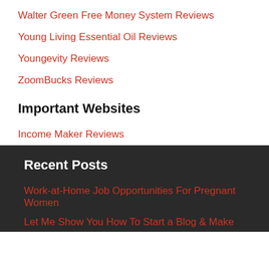Walter Green Free Money System Reviews
Young Living Essential Oil Reviews
Youngevity Reviews
ZoomBucks Reviews
Important Websites
Income Maker Reviews
Recent Posts
Work-at-Home Job Opportunities For Pregnant Women
Let Me Show You How To Start a Blog & Make